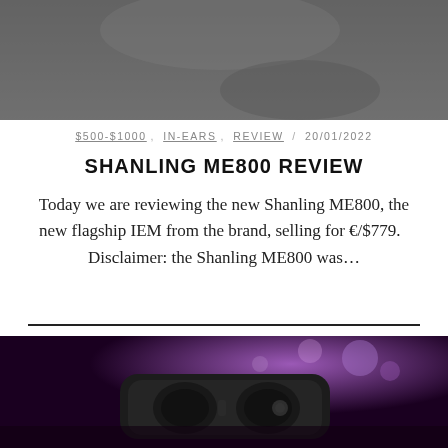[Figure (photo): Top portion of a dark grey/charcoal product photo, cropped at top of page]
$500-$1000, IN-EARS, REVIEW / 20/01/2022
SHANLING ME800 REVIEW
Today we are reviewing the new Shanling ME800, the new flagship IEM from the brand, selling for €/$779.   Disclaimer: the Shanling ME800 was…
[Figure (photo): Dark product photo of Shanling ME800 IEM earphone case/earbuds on a dark wooden surface with purple bokeh lights in background]